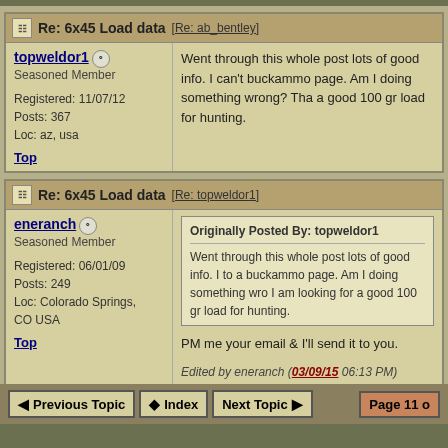Re: 6x45 Load data [Re: ab_bentley]
topweldor1
Seasoned Member
Registered: 11/07/12
Posts: 367
Loc: az, usa
Went through this whole post lots of good info. I can't buckammo page. Am I doing something wrong? Tha a good 100 gr load for hunting.
Top
Re: 6x45 Load data [Re: topweldor1]
eneranch
Seasoned Member
Registered: 06/01/09
Posts: 249
Loc: Colorado Springs, CO USA
Originally Posted By: topweldor1
Went through this whole post lots of good info. I to a buckammo page. Am I doing something wro I am looking for a good 100 gr load for hunting.
PM me your email & I'll send it to you.
Edited by eneranch (03/09/15 06:13 PM)
Top
Previous Topic   Index   Next Topic   Page 11 o